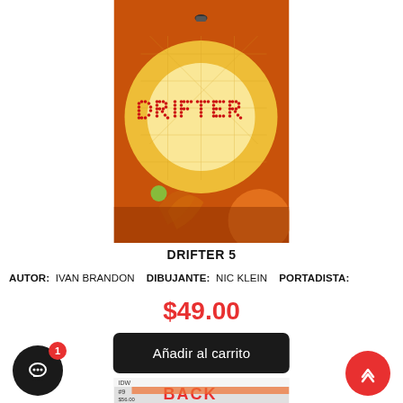[Figure (illustration): Comic book cover for DRIFTER 5, featuring an orange/warm-toned sci-fi artwork with the title DRIFTER written in red dots on a bright glowing background. A figure is visible at the top.]
DRIFTER 5
AUTOR:  IVAN BRANDON   DIBUJANTE:  NIC KLEIN   PORTADISTA:
$49.00
Añadir al carrito
[Figure (illustration): Partial view of another comic book cover at the bottom of the page, showing IDW issue #9 with BACK text visible, price $56.00]